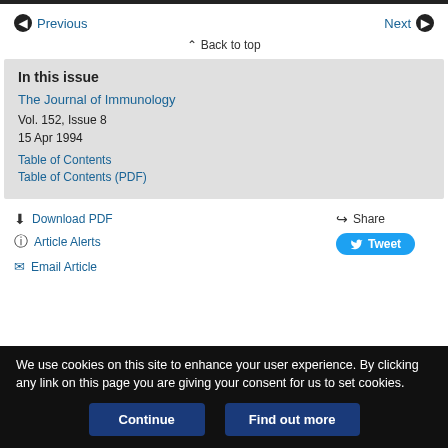Previous | Next
Back to top
In this issue
The Journal of Immunology
Vol. 152, Issue 8
15 Apr 1994
Table of Contents
Table of Contents (PDF)
Download PDF
Article Alerts
Email Article
Share
Tweet
We use cookies on this site to enhance your user experience. By clicking any link on this page you are giving your consent for us to set cookies.
Continue | Find out more